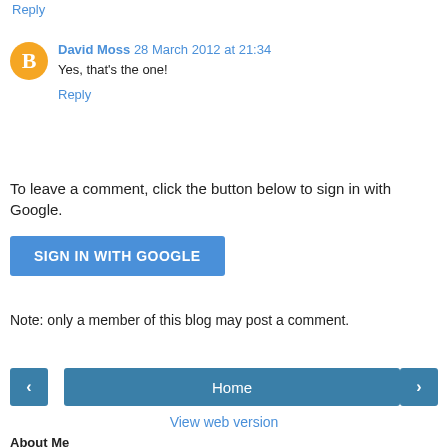Reply
David Moss  28 March 2012 at 21:34
Yes, that's the one!
Reply
To leave a comment, click the button below to sign in with Google.
SIGN IN WITH GOOGLE
Note: only a member of this blog may post a comment.
Home
View web version
About Me